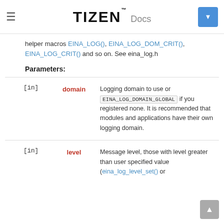TIZEN Docs
helper macros EINA_LOG(), EINA_LOG_DOM_CRIT(), EINA_LOG_CRIT() and so on. See eina_log.h
Parameters:
| [in/out] | Name | Description |
| --- | --- | --- |
| [in] | domain | Logging domain to use or EINA_LOG_DOMAIN_GLOBAL if you registered none. It is recommended that modules and applications have their own logging domain. |
| [in] | level | Message level, those with level greater than user specified value (eina_log_level_set() or |